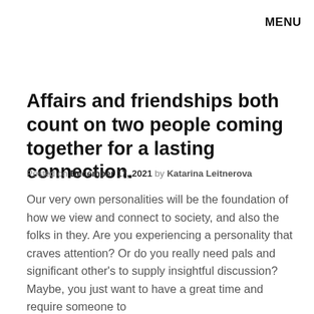MENU
Affairs and friendships both count on two people coming together for a lasting connection.
Posted on December 17, 2021 by Katarina Leitnerova
Our very own personalities will be the foundation of how we view and connect to society, and also the folks in they. Are you experiencing a personality that craves attention? Or do you really need pals and significant other's to supply insightful discussion? Maybe, you just want to have a great time and require someone to